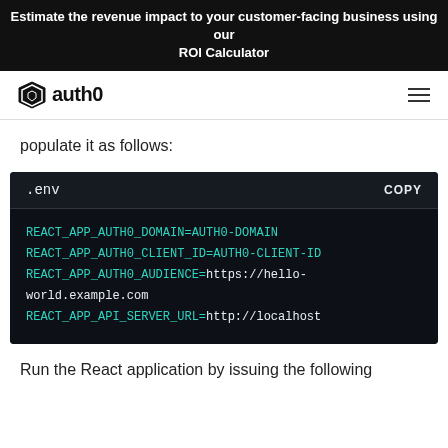Estimate the revenue impact to your customer-facing business using our ROI Calculator
[Figure (logo): Auth0 logo with star/shield icon and 'auth0' wordmark, hamburger menu icon on right]
populate it as follows:
[Figure (screenshot): Code block showing .env file with REACT_APP_AUTH0_DOMAIN=AUTH0-DOMAIN, REACT_APP_AUTH0_CLIENT_ID=AUTH0-CLIENT-ID, REACT_APP_AUTH0_AUDIENCE=https://hello-world.example.com, REACT_APP_API_SERVER_URL=http://localhost]
Run the React application by issuing the following